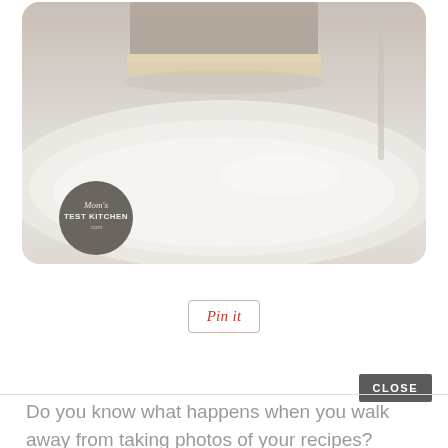[Figure (photo): Close-up photo of a cheesecake slice on a white plate, with a watermark logo reading Mom's TEST KITCHEN .com in bottom left corner]
Pin it
CLOSE
Do you know what happens when you walk away from taking photos of your recipes?